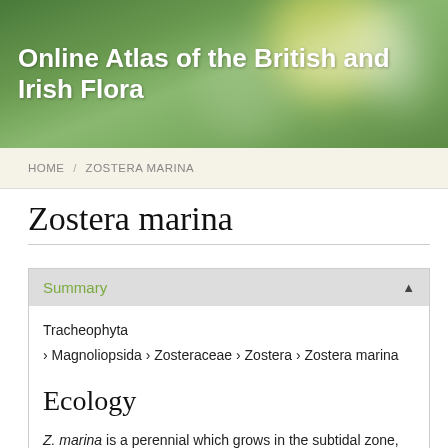Online Atlas of the British and Irish Flora
HOME / ZOSTERA MARINA
Zostera marina
Summary
Tracheophyta › Magnoliopsida › Zosteraceae › Zostera › Zostera marina
Ecology
Z. marina is a perennial which grows in the subtidal zone, on substrates of gravel, sand or sandy mud in areas which are protected from full exposure. It